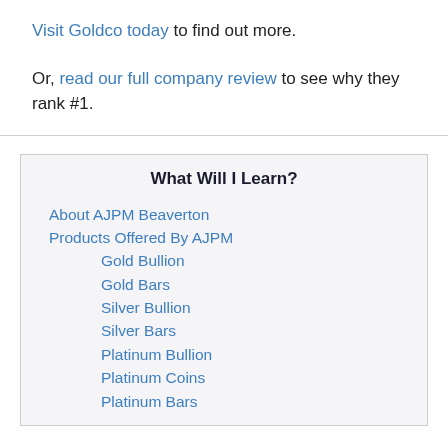Visit Goldco today to find out more.
Or, read our full company review to see why they rank #1.
What Will I Learn?
About AJPM Beaverton
Products Offered By AJPM
Gold Bullion
Gold Bars
Silver Bullion
Silver Bars
Platinum Bullion
Platinum Coins
Platinum Bars